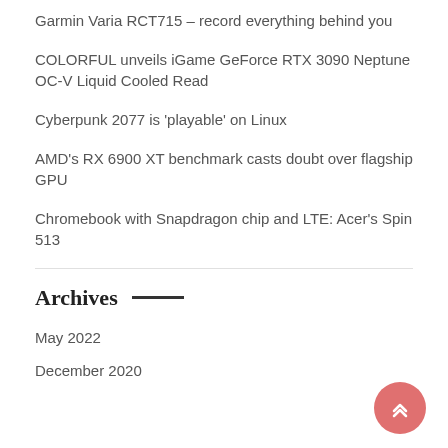Garmin Varia RCT715 – record everything behind you
COLORFUL unveils iGame GeForce RTX 3090 Neptune OC-V Liquid Cooled Read
Cyberpunk 2077 is 'playable' on Linux
AMD's RX 6900 XT benchmark casts doubt over flagship GPU
Chromebook with Snapdragon chip and LTE: Acer's Spin 513
Archives
May 2022
December 2020